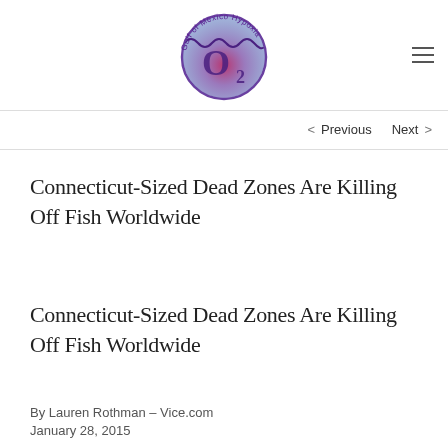[Figure (logo): Gulf of Mexico Hypoxia O2 logo — circular badge with wavy lines at top and a red/purple gradient interior, purple text around the circle reading 'Gulf of Mexico Hypoxia' with a stylized O2 in the center]
< Previous   Next >
Connecticut-Sized Dead Zones Are Killing Off Fish Worldwide
Connecticut-Sized Dead Zones Are Killing Off Fish Worldwide
By Lauren Rothman – Vice.com
January 28, 2015